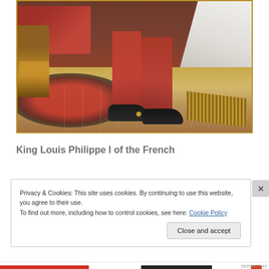[Figure (photo): Detail of a painting showing the lower body of King Louis Philippe I, wearing red trousers and black shoes, standing on an ornate patterned rug with gilded furniture and white robes visible in the background.]
King Louis Philippe I of the French
Privacy & Cookies: This site uses cookies. By continuing to use this website, you agree to their use.
To find out more, including how to control cookies, see here: Cookie Policy